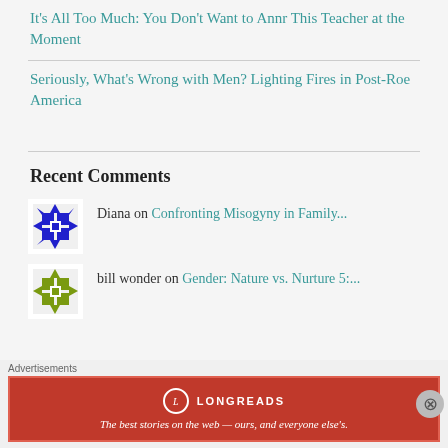It's All Too Much: You Don't Want to Annr This Teacher at the Moment
Seriously, What's Wrong with Men? Lighting Fires in Post-Roe America
Recent Comments
Diana on Confronting Misogyny in Family...
bill wonder on Gender: Nature vs. Nurture 5:...
Advertisements
[Figure (other): Longreads advertisement banner: red background with Longreads logo and tagline 'The best stories on the web — ours, and everyone else's.']